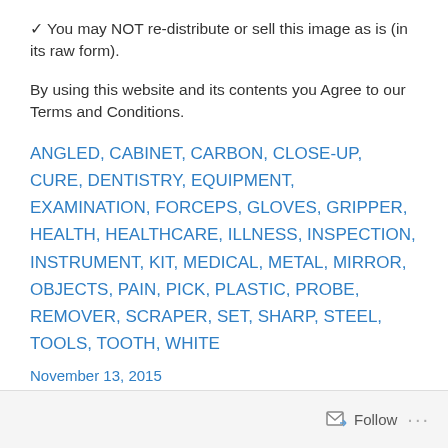✓ You may NOT re-distribute or sell this image as is (in its raw form).
By using this website and its contents you Agree to our Terms and Conditions.
ANGLED, CABINET, CARBON, CLOSE-UP, CURE, DENTISTRY, EQUIPMENT, EXAMINATION, FORCEPS, GLOVES, GRIPPER, HEALTH, HEALTHCARE, ILLNESS, INSPECTION, INSTRUMENT, KIT, MEDICAL, METAL, MIRROR, OBJECTS, PAIN, PICK, PLASTIC, PROBE, REMOVER, SCRAPER, SET, SHARP, STEEL, TOOLS, TOOTH, WHITE
November 13, 2015
Follow